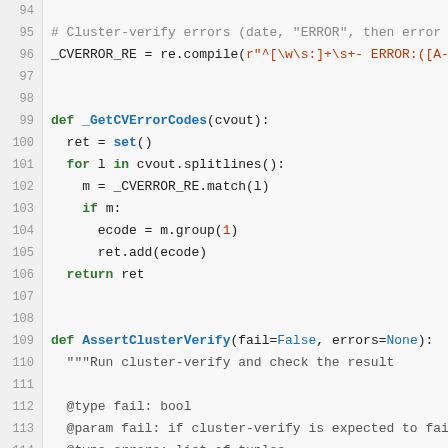[Figure (screenshot): Python source code editor view showing lines 94-119 with syntax highlighting. Lines include a comment about cluster-verify errors, a regex compile statement, a function _GetCVErrorCodes, and a function AssertClusterVerify with docstring.]